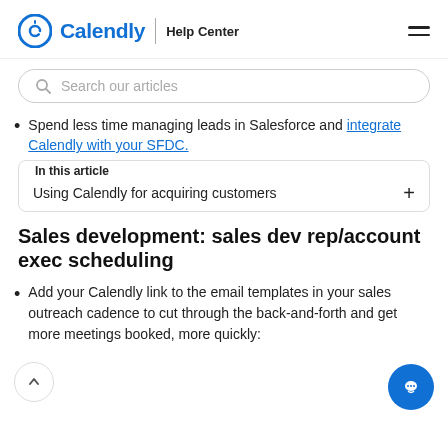Calendly | Help Center
Spend less time managing leads in Salesforce and integrate Calendly with your SFDC.
In this article
Using Calendly for acquiring customers
Sales development: sales dev rep/account exec scheduling
Add your Calendly link to the email templates in your sales outreach cadence to cut through the back-and-forth and get more meetings booked, more quickly: